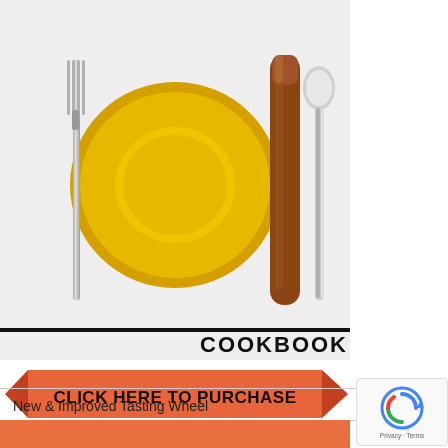[Figure (illustration): Cookbook cover illustration showing a yellow plate, silver fork on left, a cigar and silver spoon on the right, on a light gray background. Below the illustration is a thick black horizontal line followed by the word COOKBOOK in bold black text. Below that is an orange ribbon banner with text CLICK HERE TO PURCHASE.]
New & Improved Tasting Wheel
[Figure (photo): Partial view of a tasting wheel graphic, cropped at the bottom of the page.]